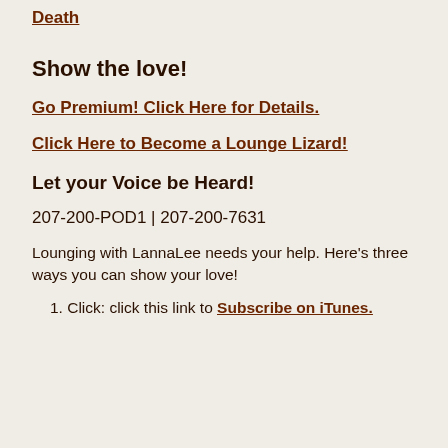Death
Show the love!
Go Premium! Click Here for Details.
Click Here to Become a Lounge Lizard!
Let your Voice be Heard!
207-200-POD1  |  207-200-7631
Lounging with LannaLee needs your help. Here’s three ways you can show your love!
1. Click: click this link to Subscribe on iTunes.